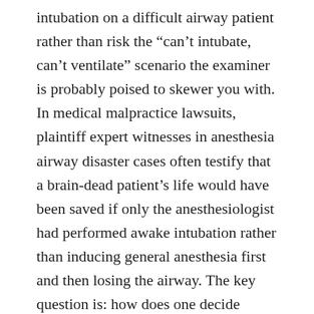intubation on a difficult airway patient rather than risk the “can’t intubate, can’t ventilate” scenario the examiner is probably poised to skewer you with. In medical malpractice lawsuits, plaintiff expert witnesses in anesthesia airway disaster cases often testify that a brain-dead patient’s life would have been saved if only the anesthesiologist had performed awake intubation rather than inducing general anesthesia first and then losing the airway. The key question is: how does one decide which patient needs an awake intubation? As an anesthesia practitioner, if you performed awake intubations on one out of 50 cases because you were worried about a difficult airway, you would delay operating rooms and surgeons multiple times per year because of your caution. You will not be popular if you do this. In my clinical practice and in the practice of the